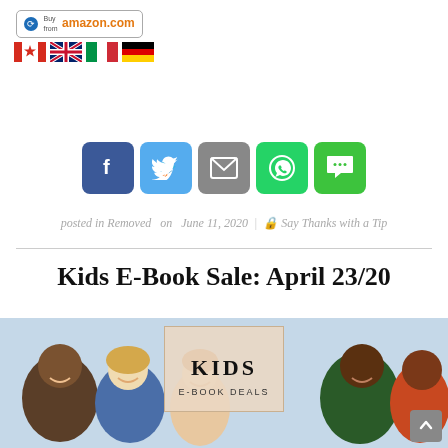[Figure (logo): Buy from Amazon.com button with circular arrow icon and orange Amazon text]
[Figure (illustration): Four country flags: Canada (maple leaf), UK (Union Jack), Italy (tricolor), Germany (tricolor)]
[Figure (infographic): Row of five social share buttons: Facebook (blue f), Twitter (blue bird), Email (grey envelope), WhatsApp (green phone), SMS (green speech bubble)]
posted in Removed   on  June 11, 2020  |  🔒 Say Thanks with a Tip
Kids E-Book Sale: April 23/20
[Figure (photo): Photo of smiling diverse children, with a book overlay in the center reading KIDS / E-BOOK DEALS]